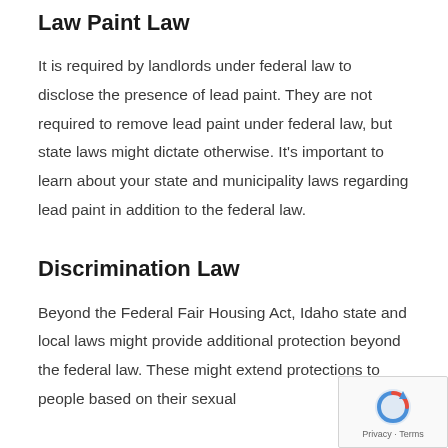Law Paint Law
It is required by landlords under federal law to disclose the presence of lead paint. They are not required to remove lead paint under federal law, but state laws might dictate otherwise. It's important to learn about your state and municipality laws regarding lead paint in addition to the federal law.
Discrimination Law
Beyond the Federal Fair Housing Act, Idaho state and local laws might provide additional protection beyond the federal law. These might extend protections to people based on their sexual